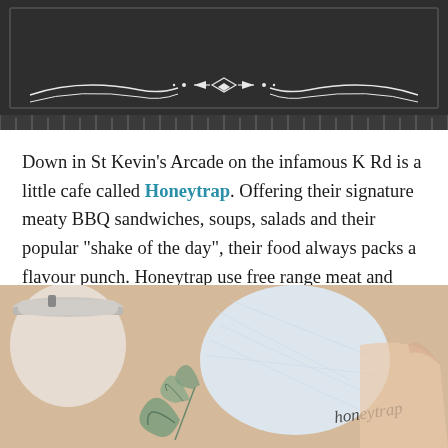[Figure (photo): Dark chalkboard-style banner with decorative white ornamental divider design at the bottom]
Down in St Kevin's Arcade on the infamous K Rd is a little cafe called Honeytrap. Offering their signature meaty BBQ sandwiches, soups, salads and their popular “shake of the day”, their food always packs a flavour punch. Honeytrap use free range meat and eggs and their sauces and pickles are made in house.
[Figure (photo): Photo of a wrapped sandwich on kraft paper with a coffee cup and botanical leaf decoration, with Honeytrap branding script on the wrapping paper]